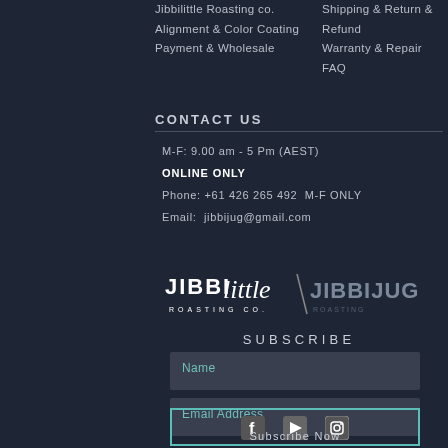Jibbilittle Roasting co.
Alignment & Color Coating
Payment & Wholesale
Shipping & Return & Refund
Warranty & Repair
FAQ
CONTACT US
M-F: 9.00 am - 5 Pm (AEST)
ONLINE ONLY
Phone: +61 426 265 492  M-F ONLY
Email:  jibbijug@gmail.com
[Figure (logo): JIBBI little ROASTING CO. logo and JIBBIJUG logo side by side]
SUBSCRIBE
Name
Email Address
Subscribe Now